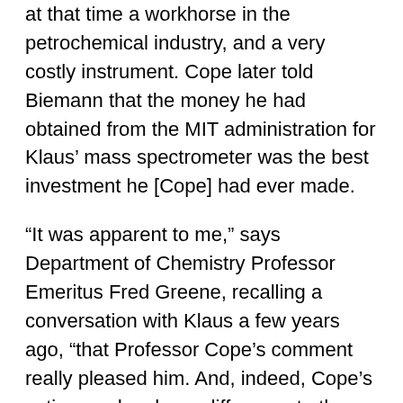at that time a workhorse in the petrochemical industry, and a very costly instrument. Cope later told Biemann that the money he had obtained from the MIT administration for Klaus' mass spectrometer was the best investment he [Cope] had ever made.
“It was apparent to me,” says Department of Chemistry Professor Emeritus Fred Greene, recalling a conversation with Klaus a few years ago, “that Professor Cope’s comment really pleased him. And, indeed, Cope’s action made a huge difference to the field of mass spectrometry, to the department, and to Klaus.”
"On a personal note," Greene continues, “Klaus was such a gracious person. And a thoughtful person. It was a real gift to me to have had these interactions